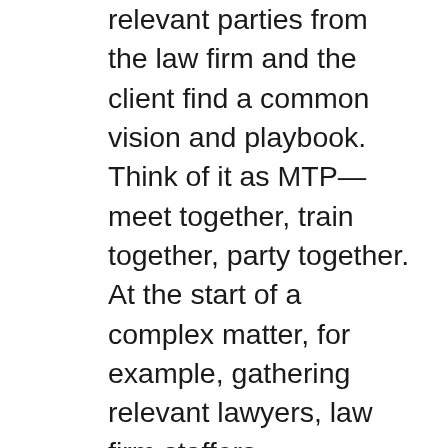relevant parties from the law firm and the client find a common vision and playbook. Think of it as MTP—meet together, train together, party together. At the start of a complex matter, for example, gathering relevant lawyers, law firm staffers (particularly from pricing and project management teams) and the key clients representatives would increase the likelihood that they, like a well-tuned race car, would be in complete alignment. A similar effort called for inviting clients to train with law firm partners in project management techniques. Not only would this indicate that the firm had embraced LPM, but also it might bring closer the firm and its clients' work habits. Finally, there was the notion of a victory dinner at the end, one open to more than a small group of cigar-smoking